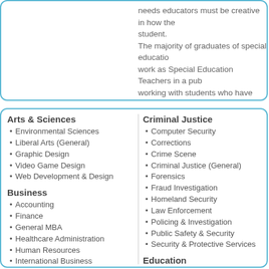needs educators must be creative in how the student. The majority of graduates of special education work as Special Education Teachers in a public working with students who have mild to moderate number of graduates will work with severely focusing on life skills and basic education. degrees may work in administration or as a c
Arts & Sciences
Environmental Sciences
Liberal Arts (General)
Graphic Design
Video Game Design
Web Development & Design
Business
Accounting
Finance
General MBA
Healthcare Administration
Human Resources
International Business
IT Management
Marketing
Project Management
Criminal Justice
Computer Security
Corrections
Crime Scene
Criminal Justice (General)
Forensics
Fraud Investigation
Homeland Security
Law Enforcement
Policing & Investigation
Public Safety & Security
Security & Protective Services
Education
Adult Education
Curriculum and Instruction
Early Childhood Education